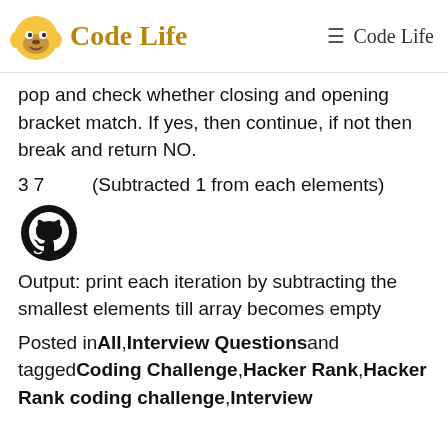Code Life | Code Life
pop and check whether closing and opening bracket match. If yes, then continue, if not then break and return NO.
3 7        (Subtracted 1 from each elements)
[Figure (logo): GitHub Octocat logo icon]
Output: print each iteration by subtracting the smallest elements till array becomes empty
Posted inAll,Interview Questionsand taggedCoding Challenge,Hacker Rank,Hacker Rank coding challenge,Interview